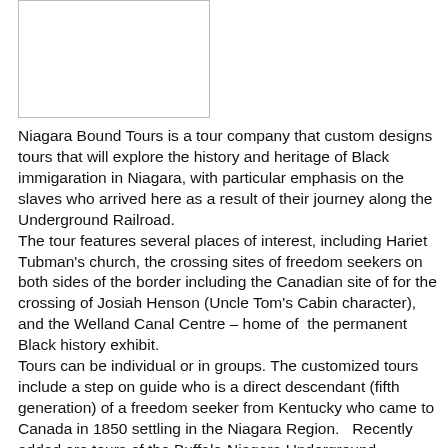[Figure (photo): White/blank rectangular image placeholder with a border]
Niagara Bound Tours is a tour company that custom designs tours that will explore the history and heritage of Black immigaration in Niagara, with particular emphasis on the slaves who arrived here as a result of their journey along the Underground Railroad.
The tour features several places of interest, including Hariet Tubman's church, the crossing sites of freedom seekers on both sides of the border including the Canadian site of for the crossing of Josiah Henson (Uncle Tom's Cabin character), and the Welland Canal Centre – home of  the permanent Black history exhibit.
Tours can be individual or in groups. The customized tours include a step on guide who is a direct descendant (fifth generation) of a freedom seeker from Kentucky who came to Canada in 1850 settling in the Niagara Region.   Recently added are tours of the Buffalo-Niagara Underground Railroad as well.